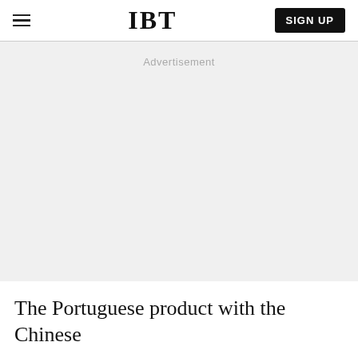IBT | SIGN UP
Advertisement
The Portuguese product with the Chinese